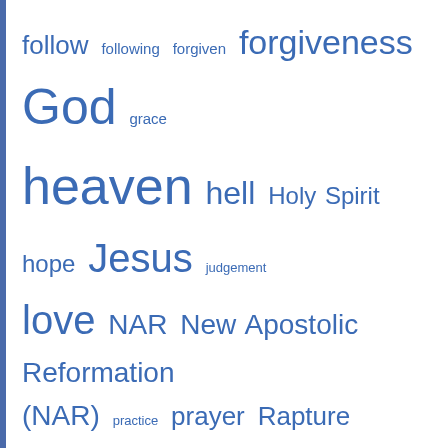[Figure (infographic): Tag cloud with religious/theological terms in various font sizes in blue, on white background with blue left border. Terms include: follow, following, forgiven, forgiveness, God, grace, heaven, hell, Holy Spirit, hope, Jesus, judgement, love, NAR, New Apostolic Reformation (NAR), practice, prayer, Rapture, repent, repentance, resurrection, Salvation, Satan, saved, sin, sincerity, time, truth]
FEATURED POST
[Figure (photo): Silhouette of a person jumping with arms raised against a colorful sunset sky with purple, pink, orange hues over dark hills]
Oh what a day that will be! Wow! To enter into the Kingdom of God - freely as His redeemed child. No cringing in shame, no